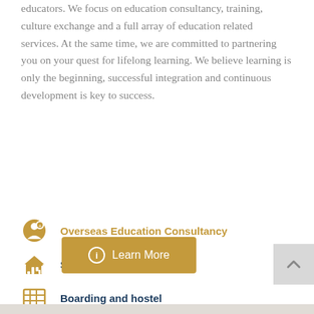educators. We focus on education consultancy, training, culture exchange and a full array of education related services. At the same time, we are committed to partnering you on your quest for lifelong learning. We believe learning is only the beginning, successful integration and continuous development is key to success.
Overseas Education Consultancy
School Transfer
Boarding and hostel
School Tours
Cultural exchange tour
Overseas Training
Learn More